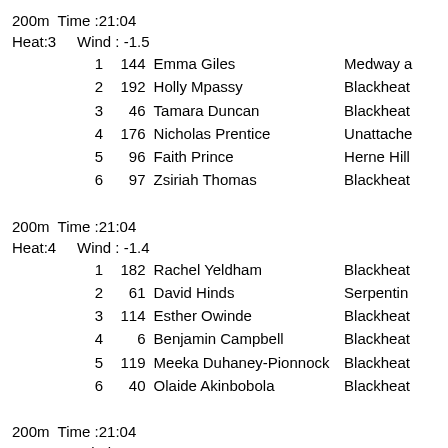200m  Time :21:04
Heat:3     Wind : -1.5
1   144   Emma Giles   Medway a
2   192   Holly Mpassy   Blackheat
3    46   Tamara Duncan   Blackheat
4   176   Nicholas Prentice   Unattache
5    96   Faith Prince   Herne Hill
6    97   Zsiriah Thomas   Blackheat
200m  Time :21:04
Heat:4     Wind : -1.4
1   182   Rachel Yeldham   Blackheat
2    61   David Hinds   Serpentin
3   114   Esther Owinde   Blackheat
4     6   Benjamin Campbell   Blackheat
5   119   Meeka Duhaney-Pionnock   Blackheat
6    40   Olaide Akinbobola   Blackheat
200m  Time :21:04
Heat:5     Wind : 0.3
1    66   Akeiyla Robinson-Pascal   Blackheat
2    50   Zoe Austridge   Blackheat